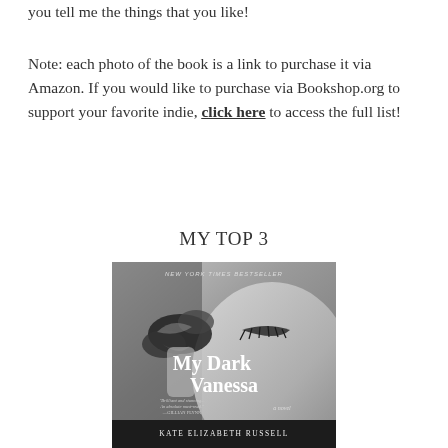you tell me the things that you like!
Note: each photo of the book is a link to purchase it via Amazon. If you would like to purchase via Bookshop.org to support your favorite indie, click here to access the full list!
MY TOP 3
[Figure (photo): Book cover of 'My Dark Vanessa' by Kate Elizabeth Russell. Black and white photo of a woman's face with eyes closed and a butterfly resting near her nose/forehead. Text reads 'NEW YORK TIMES BESTSELLER', 'My Dark Vanessa', 'a novel', a pull quote, and 'Kate Elizabeth Russell' at the bottom.]